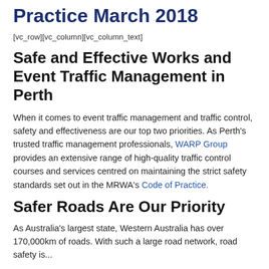Practice March 2018
[vc_row][vc_column][vc_column_text]
Safe and Effective Works and Event Traffic Management in Perth
When it comes to event traffic management and traffic control, safety and effectiveness are our top two priorities. As Perth's trusted traffic management professionals, WARP Group provides an extensive range of high-quality traffic control courses and services centred on maintaining the strict safety standards set out in the MRWA's Code of Practice.
Safer Roads Are Our Priority
As Australia's largest state, Western Australia has over 170,000km of roads. With such a large road network, road safety is...